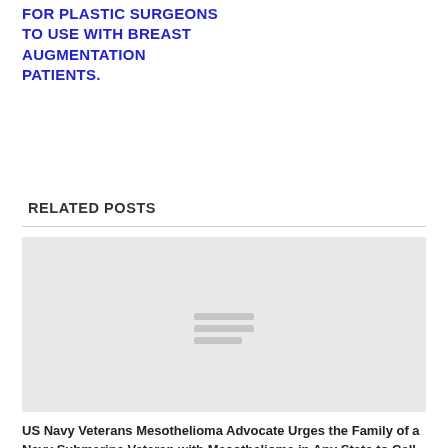FOR PLASTIC SURGEONS TO USE WITH BREAST AUGMENTATION PATIENTS.
RELATED POSTS
[Figure (photo): Placeholder image with three horizontal lines icon, light gray background]
US Navy Veterans Mesothelioma Advocate Urges the Family of a Navy Submarine Veteran with Mesothelioma in Any State to Call